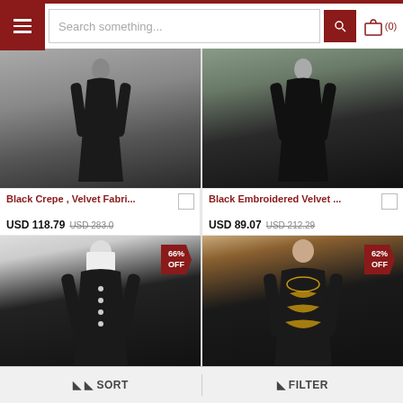Search something... (0)
[Figure (photo): Black abaya/dress displayed on model against grey background]
Black Crepe , Velvet Fabri...
USD 118.79  USD 283.0
[Figure (photo): Black embroidered velvet dress displayed on model against architectural background]
Black Embroidered Velvet ...
USD 89.07  USD 212.29
[Figure (photo): Black button-down velvet abaya on model with hijab, 66% OFF tag]
[Figure (photo): Black embroidered kaftan with gold pattern on model, 62% OFF tag]
◈ ◈ SORT
◈ FILTER